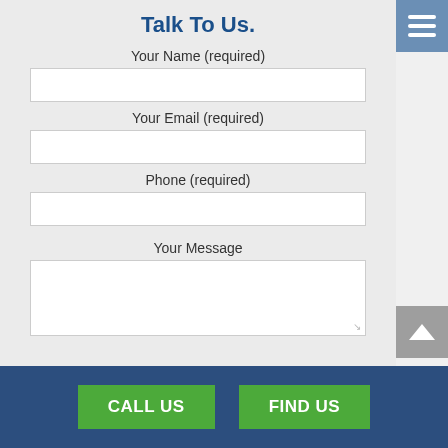Talk To Us.
Your Name (required)
Your Email (required)
Phone (required)
Your Message
CALL US
FIND US